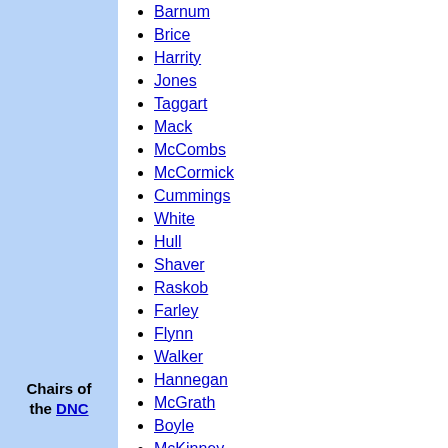Chairs of the DNC
Barnum
Brice
Harrity
Jones
Taggart
Mack
McCombs
McCormick
Cummings
White
Hull
Shaver
Raskob
Farley
Flynn
Walker
Hannegan
McGrath
Boyle
McKinney
Mitchell
Butler
Jackson
Bailey
O'Brien